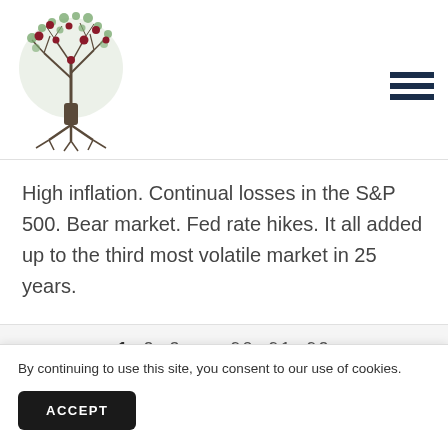[Figure (logo): FFR Wealth Team logo — a stylized tree with red and green dots as fruit, dark brown trunk and roots, with text 'FFR WEALTH TEAM' in dark red below the tree]
High inflation. Continual losses in the S&P 500. Bear market. Fed rate hikes. It all added up to the third most volatile market in 25 years.
1  2  3  ...  90  91  92
By continuing to use this site, you consent to our use of cookies.
ACCEPT